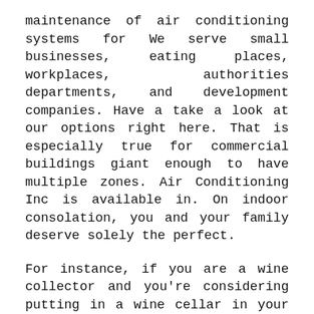maintenance of air conditioning systems for We serve small businesses, eating places, workplaces, authorities departments, and development companies. Have a take a look at our options right here. That is especially true for commercial buildings giant enough to have multiple zones. Air Conditioning Inc is available in. On indoor consolation, you and your family deserve solely the perfect.
For instance, if you are a wine collector and you're considering putting in a wine cellar in your Perth, WA, AU house, you would possibly rent a Western Australia HVAC contractor who specializes in refrigeration work. Jako Service has devoted personnel specializing in hospital HVAC services and methods. Extremely trained technicians are on-site, ready to service mechanical methods from commercial, industrial, and marine